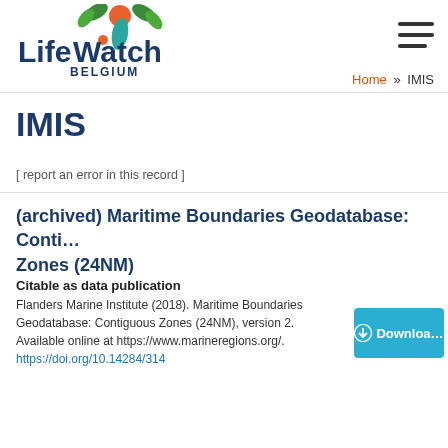[Figure (logo): LifeWatch Belgium logo with orange circle, green leaves, and teal leaf above the text 'LifeWatch' in dark blue with an orange 'e', and 'BELGIUM' in dark blue below]
Home » IMIS
IMIS
[ report an error in this record ]
(archived) Maritime Boundaries Geodatabase: Contiguous Zones (24NM)
Citable as data publication
Flanders Marine Institute (2018). Maritime Boundaries Geodatabase: Contiguous Zones (24NM), version 2. Available online at https://www.marineregions.org/. https://doi.org/10.14284/314